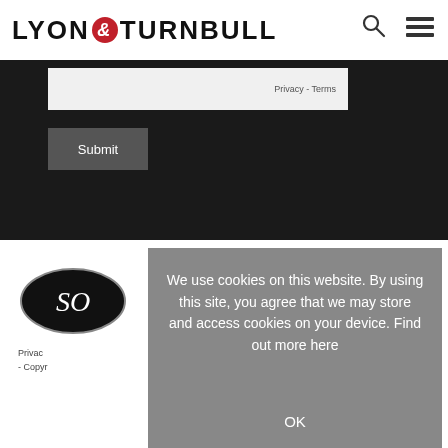[Figure (logo): Lyon & Turnbull logo with red circle ampersand]
[Figure (screenshot): Search icon (magnifying glass) and hamburger menu icon in top right]
Privacy - Terms
Submit
[Figure (logo): Oval black logo with 'SO' letters in serif font]
Privacy
- Copyright
We use cookies on this website. By using this site, you agree that we may store and access cookies on your device. Find out more here
OK